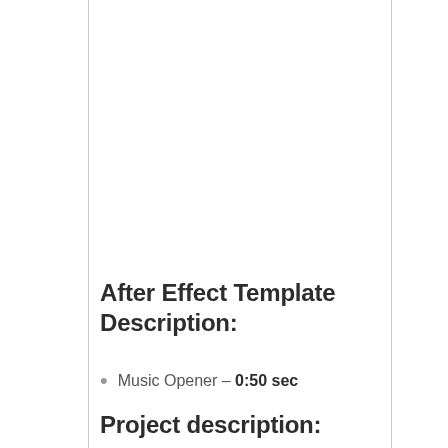After Effect Template Description:
Music Opener – 0:50 sec
Project description: